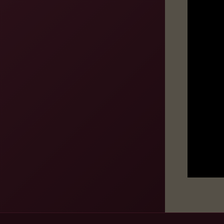[Figure (screenshot): Dark interface panel showing game or software system requirements. Left sidebar is dark red/maroon. Right panel is olive/dark khaki with a black image area at top. Bottom has a dark bar.]
| Requirement | Value |
| --- | --- |
| Required CPU: | Intel Penti... |
| Required Memory: | 1GB |
| Sounds: | DirectSou... |
| Required Graphics: | Direct3D c... |
| Required HDD Free Space: | 1 GB avail... |
| DirectX: | Version 9... |